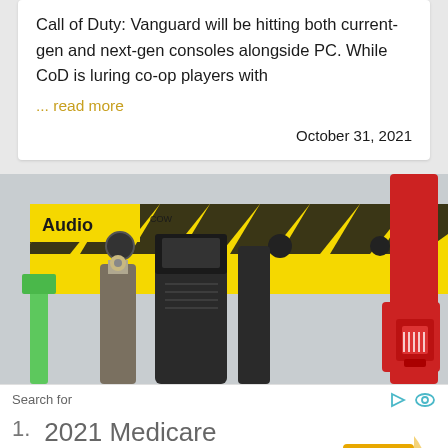Call of Duty: Vanguard will be hitting both current-gen and next-gen consoles alongside PC. While CoD is luring co-op players with
... read more
October 31, 2021
[Figure (photo): Close-up photo of audio cables and connectors plugged into a yellow device labeled 'Audio', including a green cable, black BNC connector, black USB cable, and a red ethernet cable]
Search for
1. 2021 Medicare Advantage Plans   Tips